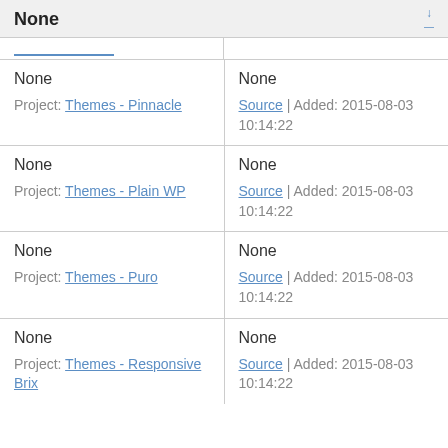None
| None
Project: Themes - Pinnacle | None
Source | Added: 2015-08-03 10:14:22 |
| None
Project: Themes - Plain WP | None
Source | Added: 2015-08-03 10:14:22 |
| None
Project: Themes - Puro | None
Source | Added: 2015-08-03 10:14:22 |
| None
Project: Themes - Responsive Brix | None
Source | Added: 2015-08-03 10:14:22 |